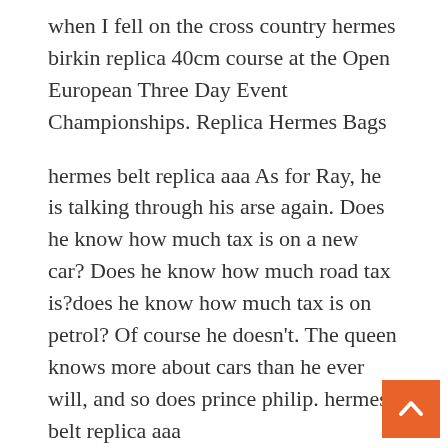when I fell on the cross country hermes birkin replica 40cm course at the Open European Three Day Event Championships. Replica Hermes Bags
hermes belt replica aaa As for Ray, he is talking through his arse again. Does he know how much tax is on a new car? Does he know how much road tax is?does he know how much tax is on petrol? Of course he doesn't. The queen knows more about cars than he ever will, and so does prince philip. hermes belt replica aaa
best hermes replica handbags Other research has confirmed this: in another study, chimpanzees also failed to change their behaviour despite being watched by a fellow chimp. If chimpanzees care attended to their reputations like humans do, then